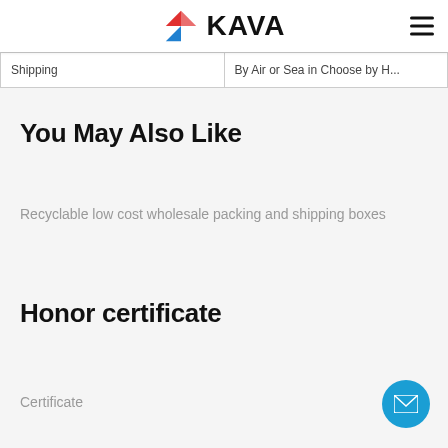KAVA
| Shipping | By Air or Sea in Choose by H... |
| --- | --- |
You May Also Like
Recyclable low cost wholesale packing and shipping boxes
Honor certificate
Certificate